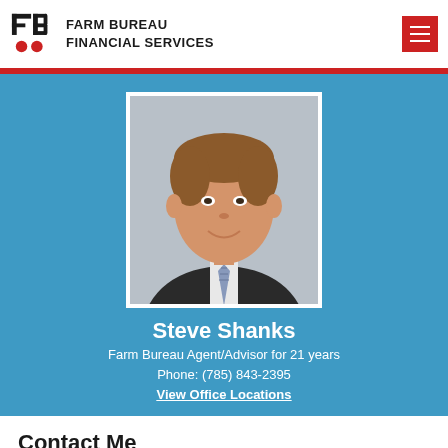Farm Bureau Financial Services
[Figure (photo): Professional headshot of Steve Shanks, a man in a dark suit with a striped tie, smiling against a grey background]
Steve Shanks
Farm Bureau Agent/Advisor for 21 years
Phone: (785) 843-2395
View Office Locations
Contact Me
Our agents and advisors work together to provide a full suite of insurance